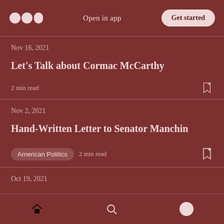Open in app | Get started
Nov 16, 2021
Let's Talk about Cormac McCarthy
2 min read
Nov 2, 2021
Hand-Written Letter to Senator Manchin
American Politics  2 min read
Oct 19, 2021
Home | Search | Profile